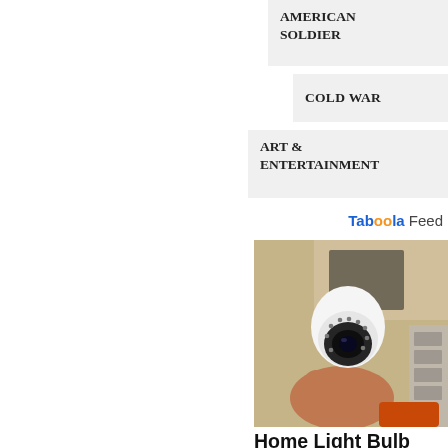AMERICAN SOLDIER
COLD WAR
ART & ENTERTAINMENT
Taboola Feed
[Figure (photo): A hand holding a white light bulb camera with a dome-shaped lens, set against a shelving background with tools.]
Home Light Bulb Camera For Easy...
Keillini | Sponsored
[Figure (photo): Partial view of an outdoor wall-mounted lantern light fixture on a stone wall.]